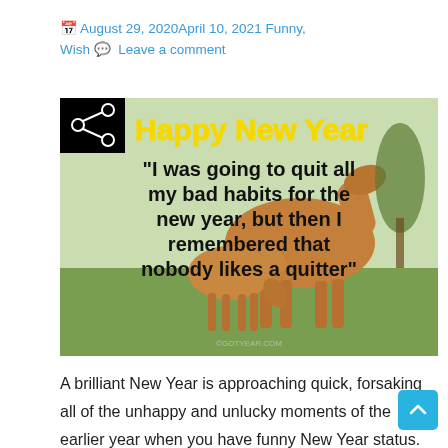August 29, 2020April 10, 2021 Funny, Wish  Leave a comment
[Figure (photo): A humorous New Year image with a horse and foal on a field. Text overlay reads 'Happy New Year' in yellow bold font and '"I was going to quit all my bad habits for the new year, but then I remembered that nobody likes a quitter"' in bold black text. A share icon is in the top-left corner.]
A brilliant New Year is approaching quick, forsaking all of the unhappy and unlucky moments of the earlier year when you have funny New Year status. Give your finest to make all of your beloved folks around you cheerful, starting with a cute and funny